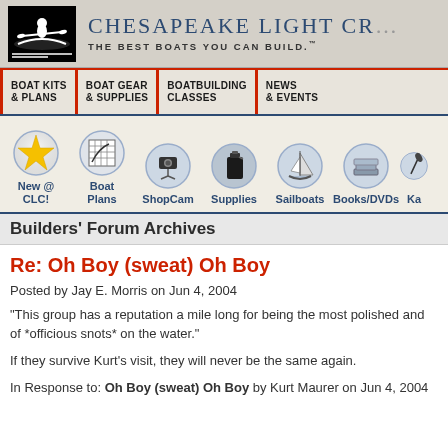CHESAPEAKE LIGHT CR — THE BEST BOATS YOU CAN BUILD.
[Figure (logo): Chesapeake Light Craft logo with silhouette of person in kayak on black background]
BOAT KITS & PLANS | BOAT GEAR & SUPPLIES | BOATBUILDING CLASSES | NEWS & EVENTS
[Figure (infographic): Navigation icon row: New @ CLC! (star), Boat Plans (blueprint), ShopCam (camera), Supplies (jug), Sailboats (sailboat), Books/DVDs (books), Ka... (partially cut off)]
Builders' Forum Archives
Re: Oh Boy (sweat) Oh Boy
Posted by Jay E. Morris on Jun 4, 2004
"This group has a reputation a mile long for being the most polished and of *officious snots* on the water."
If they survive Kurt's visit, they will never be the same again.
In Response to: Oh Boy (sweat) Oh Boy by Kurt Maurer on Jun 4, 2004